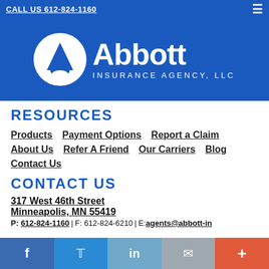CALL US 612-824-1160
[Figure (logo): Abbott Insurance Agency, LLC logo with white circular emblem containing a triangle/arrow shape on blue background]
RESOURCES
Products
Payment Options
Report a Claim
About Us
Refer A Friend
Our Carriers
Blog
Contact Us
CONTACT US
317 West 46th Street
Minneapolis, MN 55419
P: 612-824-1160 | F: 612-824-6210 | E:agents@abbott-in...com
Facebook | Twitter | LinkedIn | Email | More